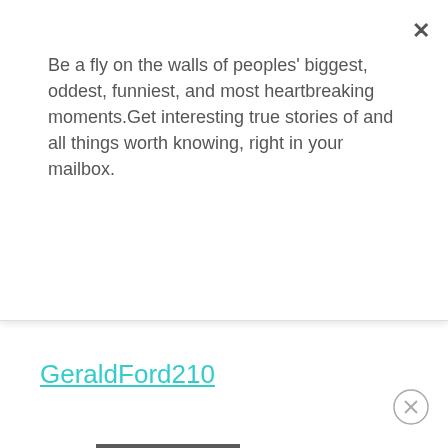Be a fly on the walls of peoples' biggest, oddest, funniest, and most heartbreaking moments.Get interesting true stories of and all things worth knowing, right in your mailbox.
[Figure (screenshot): Subscribe button — dark gray rectangular button with white bold text 'Subscribe']
GeraldFord210